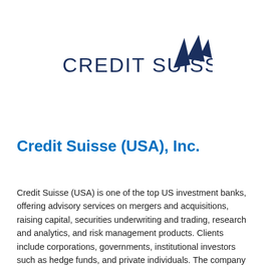[Figure (logo): Credit Suisse logo with dark navy text 'CREDIT SUISSE' and a stylized sail/fin icon in dark navy blue to the upper right of the text]
Credit Suisse (USA), Inc.
Credit Suisse (USA) is one of the top US investment banks, offering advisory services on mergers and acquisitions, raising capital, securities underwriting and trading, research and analytics, and risk management products. Clients include corporations, governments, institutional investors such as hedge funds, and private individuals. The company provides asset